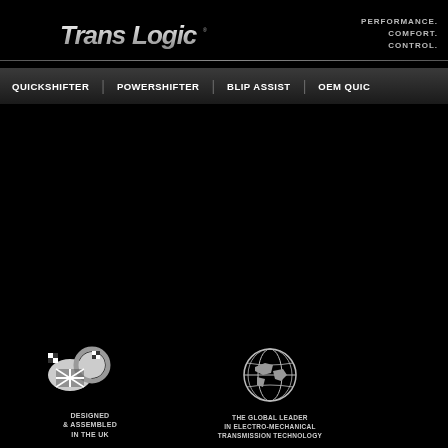[Figure (logo): TransLogic logo in stylized metallic chrome/silver italic font on black background]
PERFORMANCE. COMFORT. CONTROL.
QUICKSHIFTER | POWERSHIFTER | BLIP ASSIST | OEM QUIC
[Figure (logo): Lion with UK flag racing badge icon with text: DESIGNED & ASSEMBLED IN THE UK]
[Figure (logo): Globe icon with text: THE GLOBAL LEADER IN ELECTRO-MECHANICAL TRANSMISSION TECHNOLOGY]